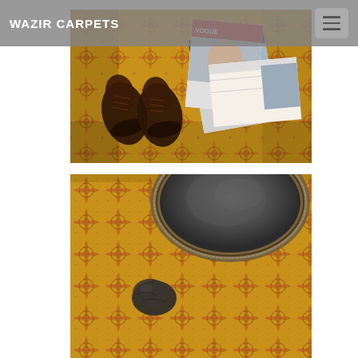WAZIR CARPETS
[Figure (photo): Overhead view of a golden-yellow ornate Persian carpet with dark brown leather Oxford shoes and scattered magazines/publications placed on top]
[Figure (photo): Close-up overhead view of golden-yellow ornate Persian carpet with a round dark metal tray and a small dark stone or apple placed on the carpet]